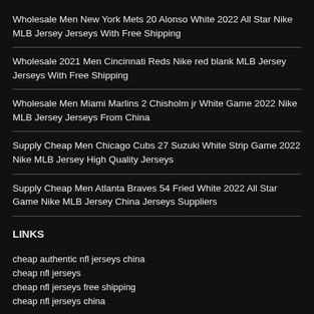Wholesale Men New York Mets 20 Alonso White 2022 All Star Nike MLB Jersey Jerseys With Free Shipping
Wholesale 2021 Men Cincinnati Reds Nike red blank MLB Jersey Jerseys With Free Shipping
Wholesale Men Miami Marlins 2 Chisholm jr White Game 2022 Nike MLB Jersey Jerseys From China
Supply Cheap Men Chicago Cubs 27 Suzuki White Strip Game 2022 Nike MLB Jersey High Quality Jerseys
Supply Cheap Men Atlanta Braves 54 Fried White 2022 All Star Game Nike MLB Jersey China Jerseys Suppliers
LINKS
cheap authentic nfl jerseys china
cheap nfl jerseys
cheap nfl jerseys free shipping
cheap nfl jerseys china